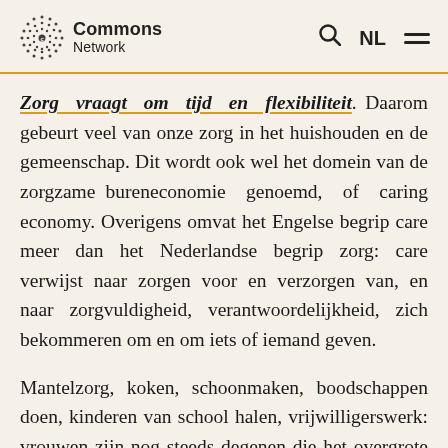Commons Network
Zorg vraagt om tijd en flexibiliteit. Daarom gebeurt veel van onze zorg in het huishouden en de gemeenschap. Dit wordt ook wel het domein van de zorgzame bureneconomie genoemd, of caring economy. Overigens omvat het Engelse begrip care meer dan het Nederlandse begrip zorg: care verwijst naar zorgen voor en verzorgen van, en naar zorgvuldigheid, verantwoordelijkheid, zich bekommeren om en om iets of iemand geven.
Mantelzorg, koken, schoonmaken, boodschappen doen, kinderen van school halen, vrijwilligerswerk: vrouwen zijn nog steeds degenen die het overgrote deel van de onbetaalde, informele zorgarbeid in het